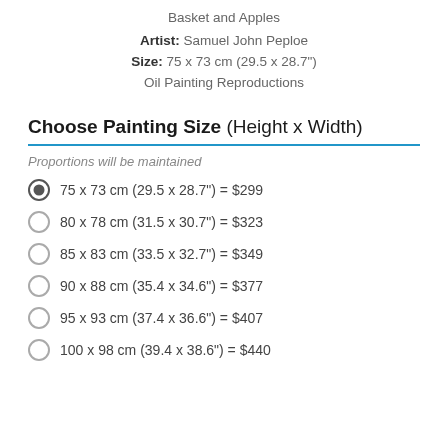Basket and Apples
Artist: Samuel John Peploe
Size: 75 x 73 cm (29.5 x 28.7")
Oil Painting Reproductions
Choose Painting Size (Height x Width)
Proportions will be maintained
75 x 73 cm (29.5 x 28.7") = $299
80 x 78 cm (31.5 x 30.7") = $323
85 x 83 cm (33.5 x 32.7") = $349
90 x 88 cm (35.4 x 34.6") = $377
95 x 93 cm (37.4 x 36.6") = $407
100 x 98 cm (39.4 x 38.6") = $440